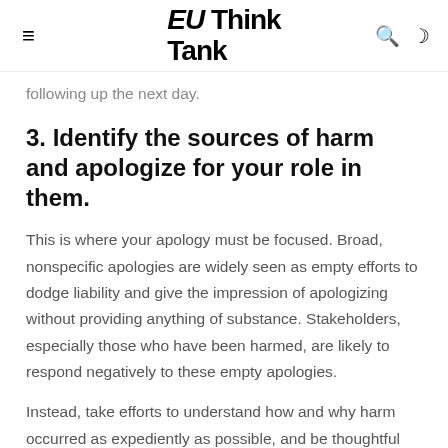EU Think Tank
following up the next day.
3. Identify the sources of harm and apologize for your role in them.
This is where your apology must be focused. Broad, nonspecific apologies are widely seen as empty efforts to dodge liability and give the impression of apologizing without providing anything of substance. Stakeholders, especially those who have been harmed, are likely to respond negatively to these empty apologies.
Instead, take efforts to understand how and why harm occurred as expediently as possible, and be thoughtful about attributing its causes. If a candidate experiences racist comments from a recruiter, the sources of harm